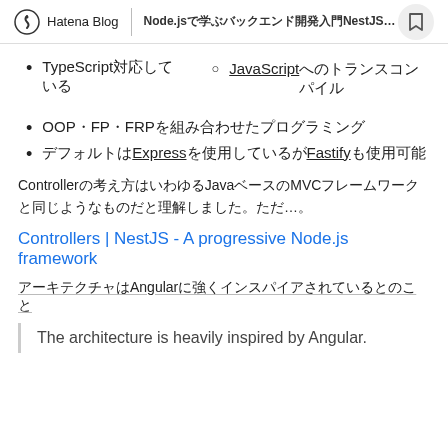Hatena Blog | Node.jsで学ぶバックエンド開発入門NestJSを使って
TypeScript対応している
JavaScriptへのトランスコンパイル
OOP・FP・FRPを組み合わせたプログラミング
デフォルトはExpressを使用しているがFastifyも使用可能
Controllerの考え方はいわゆるJavaベースのMVCフレームワークと同じようなものだと理解しました。ただ...。
Controllers | NestJS - A progressive Node.js framework
アーキテクチャはAngularに強くインスパイアされているとのこと
The architecture is heavily inspired by Angular.